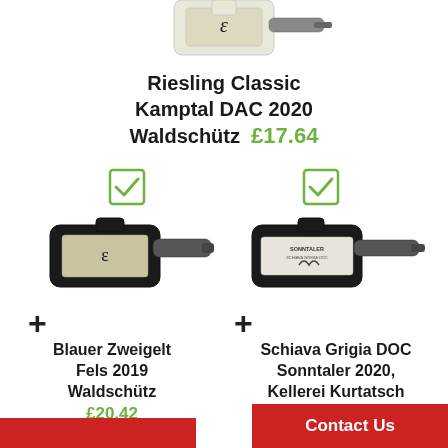[Figure (photo): Partial top view of a wine bottle (cropped, showing label and neck)]
Riesling Classic Kamptal DAC 2020 Waldschütz £17.64
[Figure (photo): Checkbox with green checkmark (left)]
[Figure (photo): Checkbox with green checkmark (right)]
[Figure (photo): Blauer Zweigelt wine bottle photo]
[Figure (photo): Schiava Grigia DOC Sonntaler wine bottle photo]
+
+
Blauer Zweigelt Fels 2019 Waldschütz £20.42
Schiava Grigia DOC Sonntaler 2020, Kellerei Kurtatsch £22.80
Contact Us